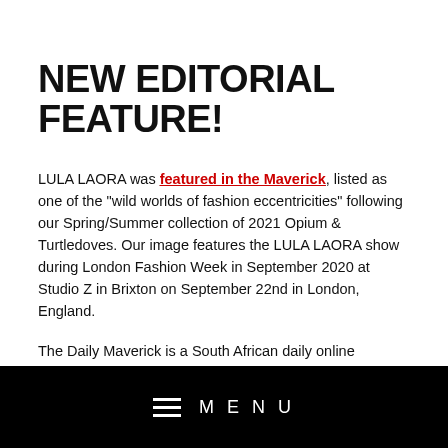NEW EDITORIAL FEATURE!
LULA LAORA was featured in the Maverick, listed as one of the “wild worlds of fashion eccentricities” following our Spring/Summer collection of 2021 Opium & Turtledoves. Our image features the LULA LAORA show during London Fashion Week in September 2020 at Studio Z in Brixton on September 22nd in London, England.
The Daily Maverick is a South African daily online newspaper that faded in 2009 providing a unique blend of news, information, analysis and opinion delivered
MENU